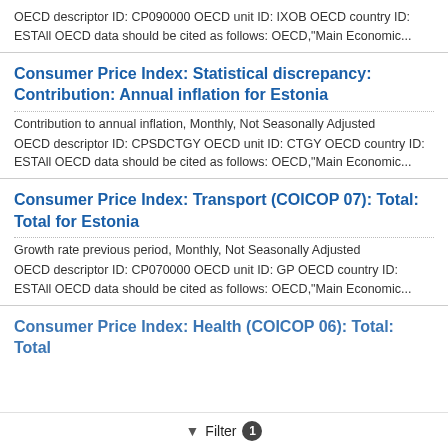OECD descriptor ID: CP090000 OECD unit ID: IXOB OECD country ID: ESTAll OECD data should be cited as follows: OECD,"Main Economic...
Consumer Price Index: Statistical discrepancy: Contribution: Annual inflation for Estonia
Contribution to annual inflation, Monthly, Not Seasonally Adjusted
OECD descriptor ID: CPSDCTGY OECD unit ID: CTGY OECD country ID: ESTAll OECD data should be cited as follows: OECD,"Main Economic...
Consumer Price Index: Transport (COICOP 07): Total: Total for Estonia
Growth rate previous period, Monthly, Not Seasonally Adjusted
OECD descriptor ID: CP070000 OECD unit ID: GP OECD country ID: ESTAll OECD data should be cited as follows: OECD,"Main Economic...
Consumer Price Index: Health (COICOP 06): Total: Total
Filter 1